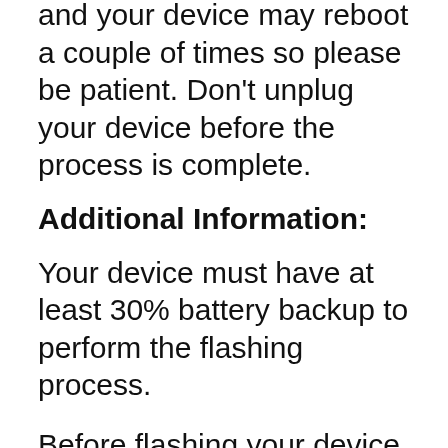and your device may reboot a couple of times so please be patient. Don't unplug your device before the process is complete.
Additional Information:
Your device must have at least 30% battery backup to perform the flashing process.
Before flashing your device, take a backup of your data and then proceed to avoid any data loss as the flashing process will wipe all your data.
It's very important that you flash your device with the correct file. Using the wrong firmware can completely brick your device.
Always flash your device with the correct